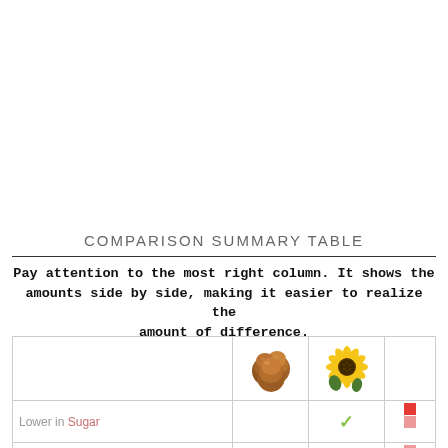COMPARISON SUMMARY TABLE
Pay attention to the most right column. It shows the amounts side by side, making it easier to realize the amount of difference.
|  | Hazelnut | Sunflower seeds |  |
| --- | --- | --- | --- |
| Lower in Sugar |  | ✓ | ■ |
| Lower in Saturated Fat |  | ✓ | ■ |